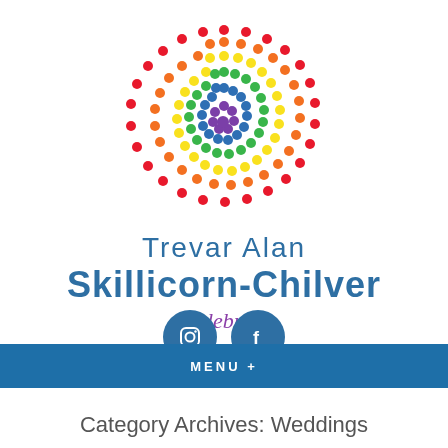[Figure (logo): Circular rainbow dot pattern logo for Trevar Alan Skillicorn-Chilver celebrant, with colorful dots arranged in concentric circles using red, orange, yellow, green, blue, and purple colors]
Trevar Alan Skillicorn-Chilver celebrant
[Figure (logo): Instagram and Facebook social media icons as white symbols on blue circular backgrounds]
MENU +
Category Archives: Weddings